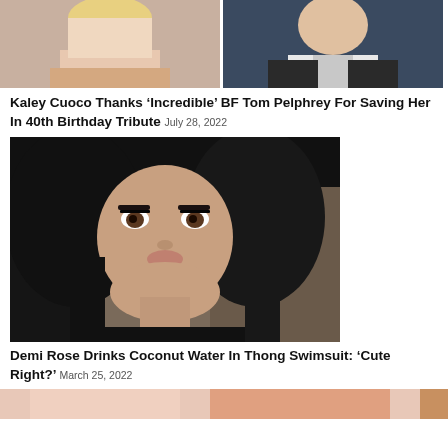[Figure (photo): Two photos side by side: blonde woman on left, smiling man on right, partially cropped at top]
Kaley Cuoco Thanks 'Incredible' BF Tom Pelphrey For Saving Her In 40th Birthday Tribute July 28, 2022
[Figure (photo): Portrait of dark-haired woman with dramatic makeup, Demi Rose]
Demi Rose Drinks Coconut Water In Thong Swimsuit: 'Cute Right?' March 25, 2022
[Figure (photo): Bottom strip of another article image, partially visible]